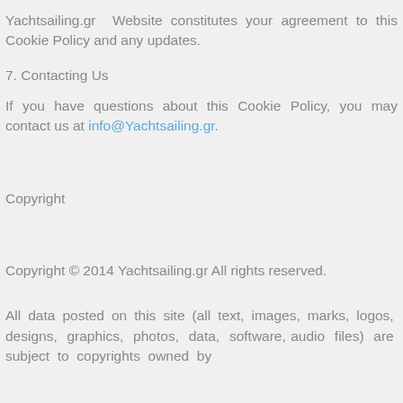Yachtsailing.gr Website constitutes your agreement to this Cookie Policy and any updates.
7. Contacting Us
If you have questions about this Cookie Policy, you may contact us at info@Yachtsailing.gr.
Copyright
Copyright © 2014 Yachtsailing.gr All rights reserved.
All data posted on this site (all text, images, marks, logos, designs, graphics, photos, data, software, audio files) are subject to copyrights owned by